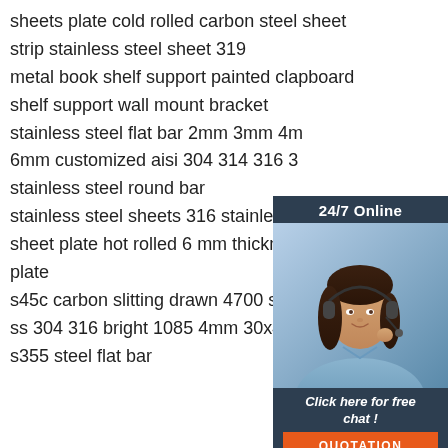sheets plate cold rolled carbon steel sheet
strip stainless steel sheet 319
metal book shelf support painted clapboard
shelf support wall mount bracket
stainless steel flat bar 2mm 3mm 4m
6mm customized aisi 304 314 316 3
stainless steel round bar
stainless steel sheets 316 stainless
sheet plate hot rolled 6 mm thickness
plate
s45c carbon slitting drawn 4700 shifter tool
ss 304 316 bright 1085 4mm 30x4 st37 st3
s355 steel flat bar
[Figure (infographic): 24/7 Online chat widget with a female customer service agent photo, 'Click here for free chat!' text, and an orange QUOTATION button]
[Figure (logo): Orange dot pattern logo mark in bottom right corner]